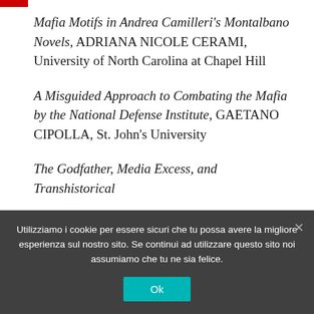Mafia Motifs in Andrea Camilleri's Montalbano Novels, ADRIANA NICOLE CERAMI, University of North Carolina at Chapel Hill
A Misguided Approach to Combating the Mafia by the National Defense Institute, GAETANO CIPOLLA, St. John's University
The Godfather, Media Excess, and Transhistorical
Utilizziamo i cookie per essere sicuri che tu possa avere la migliore esperienza sul nostro sito. Se continui ad utilizzare questo sito noi assumiamo che tu ne sia felice.